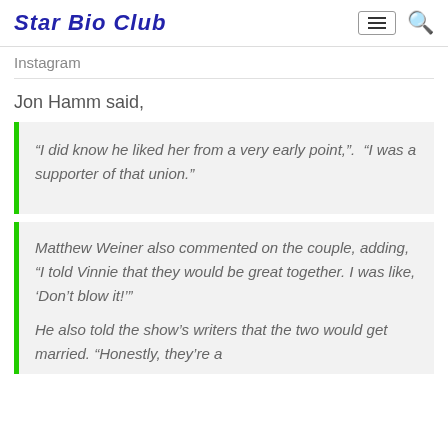Star Bio Club
Instagram
Jon Hamm said,
“I did know he liked her from a very early point,”.  “I was a supporter of that union.”
Matthew Weiner also commented on the couple, adding, “I told Vinnie that they would be great together. I was like, ‘Don’t blow it!’”

He also told the show’s writers that the two would get married. “Honestly, they’re a